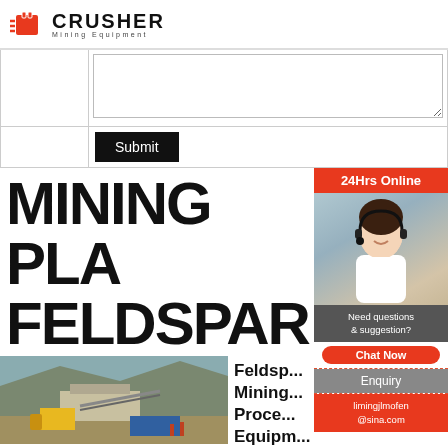CRUSHER Mining Equipment
|  | [textarea] |
|  | Submit |
MINING PLA FELDSPAR
[Figure (photo): 24Hrs Online banner with customer service representative wearing headset, with 'Need questions & suggestion?' text, 'Chat Now' button, 'Enquiry' link, and 'limingjlmofen@sina.com' email]
[Figure (photo): Outdoor mining plant facility with yellow machinery, conveyor belts, and rocky hillside backdrop]
Feldspar Mining Proce... Equipm...